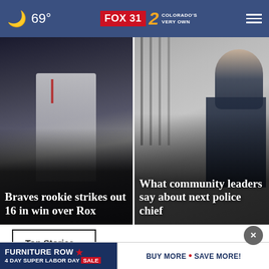69° FOX 31 2 COLORADO'S VERY OWN
[Figure (photo): Baseball player in Atlanta Braves uniform pitching/batting, crowd in background]
Braves rookie strikes out 16 in win over Rox
[Figure (photo): Police officer in uniform standing in front of iron gate building]
What community leaders say about next police chief
Top Stories ›
[Figure (infographic): Furniture Row advertisement banner: 4 Day Super Labor Day Sale - Buy More • Save More!]